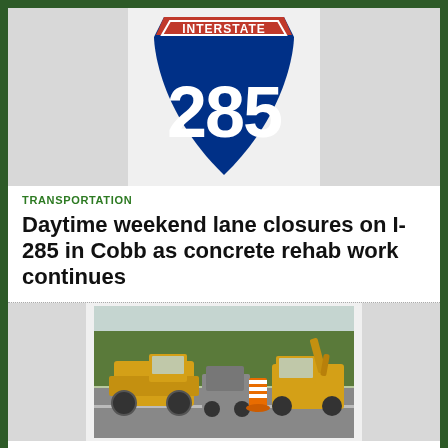[Figure (illustration): Interstate 285 highway shield sign with red top banner reading INTERSTATE and blue body with number 285, flanked by gray placeholder boxes on left and right]
TRANSPORTATION
Daytime weekend lane closures on I-285 in Cobb as concrete rehab work continues
[Figure (photo): Construction scene showing yellow heavy equipment (loaders/excavators) and an orange traffic barrel cone on a road, with trees in background]
TRANSPORTATION
Road widening project on Powder Springs Road continues this weekend